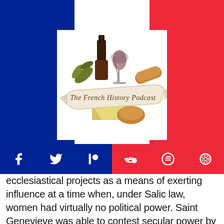[Figure (logo): The French History Podcast logo — a banner with script text over wine bottle, wine glass, baguette, cheese, and herbs, set against the French tricolor flag background]
[Figure (infographic): Social media icon bar: Facebook, Twitter, Patreon, Reddit, Spotify, Podcast icons in white, split blue left and red right]
ecclesiastical projects as a means of exerting influence at a time when, under Salic law, women had virtually no political power. Saint Genevieve was able to contest secular power by developing a popular religious following, and many future